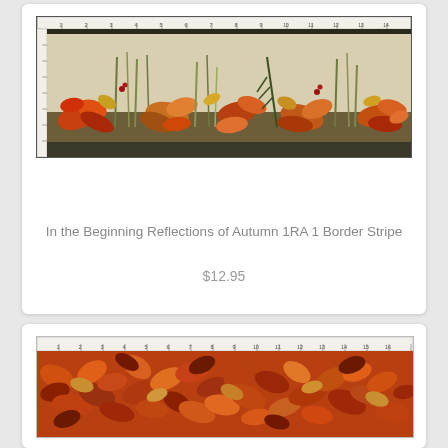[Figure (photo): Autumn botanical border stripe fabric with fall leaves, grasses and plants on a linen-colored background with dark border at bottom. A ruler is shown at the top edge.]
In the Beginning Reflections of Autumn 1RA 1 Border Stripe
$12.95
[Figure (photo): Close-up of autumn leaves fabric in orange, rust, and dark red tones showing a dense pattern of fall leaves. A ruler is shown at the top edge.]